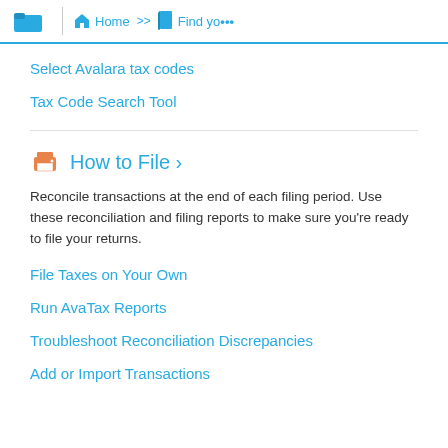Home >> Find yo...
Select Avalara tax codes
Tax Code Search Tool
How to File ›
Reconcile transactions at the end of each filing period. Use these reconciliation and filing reports to make sure you're ready to file your returns.
File Taxes on Your Own
Run AvaTax Reports
Troubleshoot Reconciliation Discrepancies
Add or Import Transactions